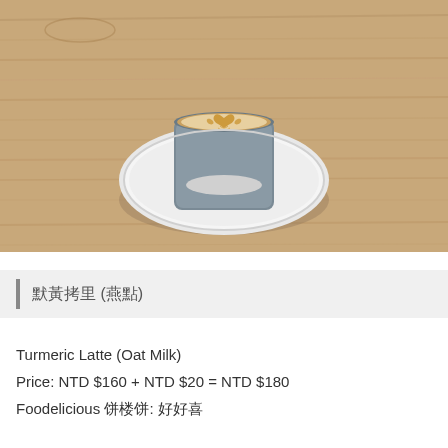[Figure (photo): Overhead view of a latte with latte art (heart/leaf pattern) in a glass cup on a white saucer, placed on a wooden table surface.]
薑黃拿鐵 (燕麥)
Turmeric Latte (Oat Milk)
Price: NTD $160 + NTD $20 = NTD $180
Foodelicious 饗樂食: 好好喝